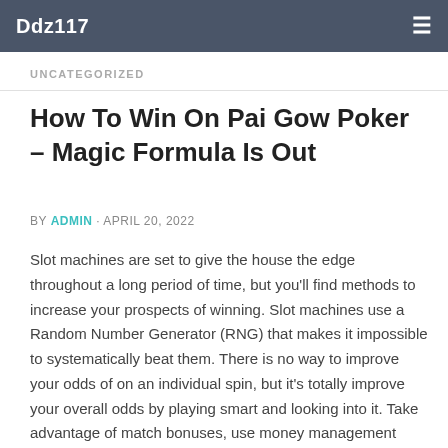Ddz117
UNCATEGORIZED
How To Win On Pai Gow Poker – Magic Formula Is Out
BY ADMIN · APRIL 20, 2022
Slot machines are set to give the house the edge throughout a long period of time, but you'll find methods to increase your prospects of winning. Slot machines use a Random Number Generator (RNG) that makes it impossible to systematically beat them. There is no way to improve your odds of on an individual spin, but it's totally improve your overall odds by playing smart and looking into it. Take advantage of match bonuses, use money management techniques, play buying machine, play at the right online casino and bet the correct amounts.